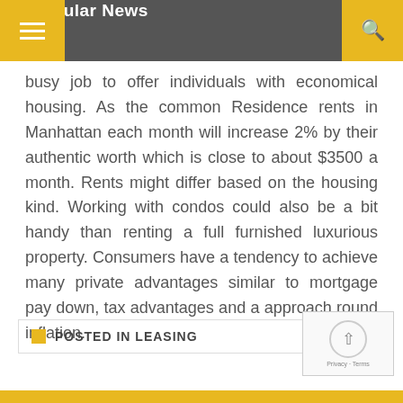Popular News
busy job to offer individuals with economical housing. As the common Residence rents in Manhattan each month will increase 2% by their authentic worth which is close to about $3500 a month. Rents might differ based on the housing kind. Working with condos could also be a bit handy than renting a full furnished luxurious property. Consumers have a tendency to achieve many private advantages similar to mortgage pay down, tax advantages and a approach round inflation.
POSTED IN LEASING